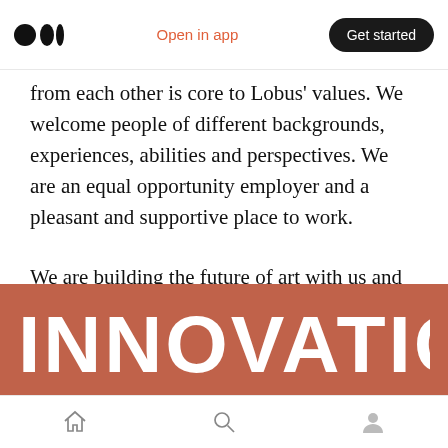Open in app | Get started
from each other is core to Lobus' values. We welcome people of different backgrounds, experiences, abilities and perspectives. We are an equal opportunity employer and a pleasant and supportive place to work.
We are building the future of art with us and reimagining the future of ownership* That starts with our team. Come join the future!
[Figure (other): Terracotta/rust-colored banner with large white bold uppercase text reading INNOVATION]
Home | Search | Profile